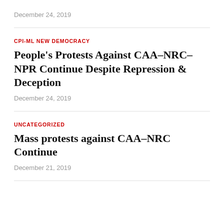December 24, 2019
CPI-ML NEW DEMOCRACY
People’s Protests Against CAA–NRC–NPR Continue Despite Repression & Deception
December 24, 2019
UNCATEGORIZED
Mass protests against CAA–NRC Continue
December 21, 2019